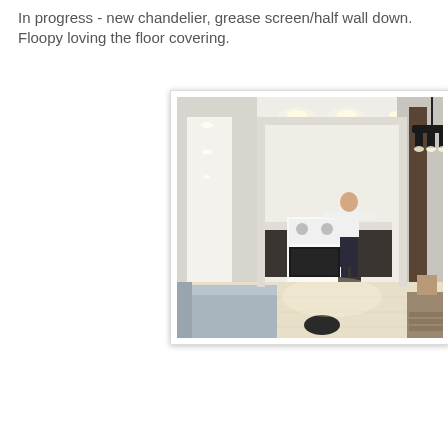In progress - new chandelier, grease screen/half wall down. Floopy loving the floor covering.
[Figure (photo): Interior renovation photo showing an open-plan living/kitchen area in progress. A man stands in the kitchen area near a white stove/range. The ceiling has recessed lighting. A black chandelier is visible in the upper right. A grey sofa is in the foreground left. The floor is covered with protective material. Hallway visible on the left.]